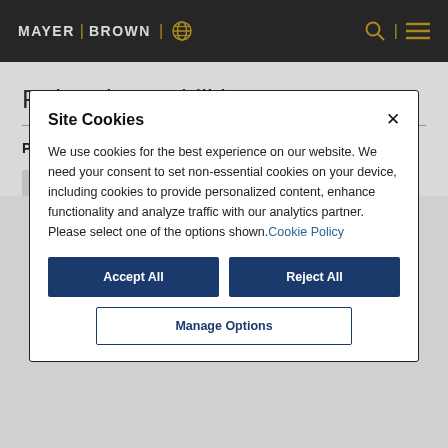MAYER | BROWN
Related Capabilities
Practices –
Site Cookies
We use cookies for the best experience on our website. We need your consent to set non-essential cookies on your device, including cookies to provide personalized content, enhance functionality and analyze traffic with our analytics partner. Please select one of the options shown. Cookie Policy
Accept All
Reject All
Manage Options